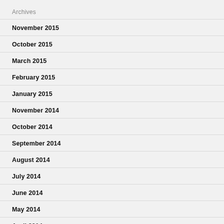Archives
November 2015
October 2015
March 2015
February 2015
January 2015
November 2014
October 2014
September 2014
August 2014
July 2014
June 2014
May 2014
April 2014